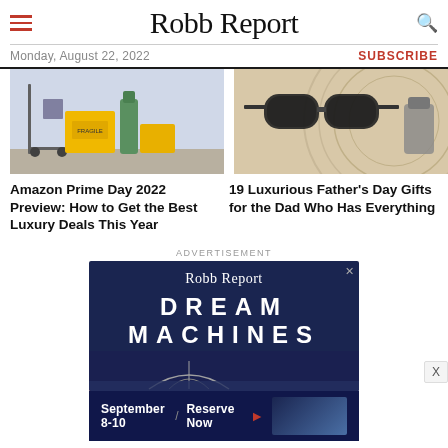Robb Report — Monday, August 22, 2022
[Figure (photo): Photo of Amazon boxes and cart — Prime Day deals image]
[Figure (photo): Photo of sunglasses and luxury accessories — Father's Day gifts image]
Amazon Prime Day 2022 Preview: How to Get the Best Luxury Deals This Year
19 Luxurious Father's Day Gifts for the Dad Who Has Everything
ADVERTISEMENT
[Figure (screenshot): Robb Report Dream Machines advertisement banner — September 8-10 / Reserve Now]